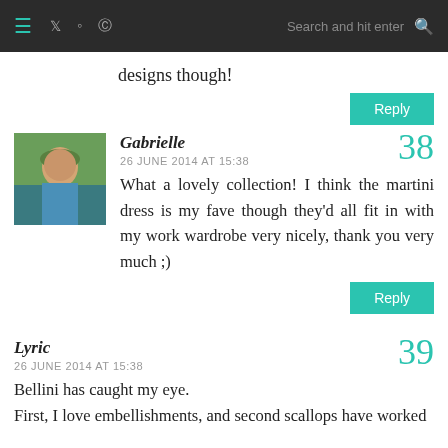≡  [twitter] [instagram] [pinterest]  Search and hit enter [search]
designs though!
Gabrielle
26 JUNE 2014 AT 15:38
What a lovely collection! I think the martini dress is my fave though they'd all fit in with my work wardrobe very nicely, thank you very much ;)
38
Lyric
26 JUNE 2014 AT 15:38
Bellini has caught my eye. First, I love embellishments, and second scallops have worked
39